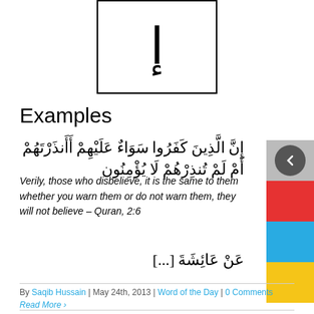[Figure (illustration): Arabic letter Alef with hamza below (إ) displayed in a bordered box]
Examples
إِنَّ الَّذِينَ كَفَرُوا سَوَاءٌ عَلَيْهِمْ أَأَنذَرْتَهُمْ أَمْ لَمْ تُنذِرْهُمْ لَا يُؤْمِنُون
Verily, those who disbelieve, it is the same to them whether you warn them or do not warn them, they will not believe – Quran, 2:6
عَنْ عَائِشَةَ [...]
By Saqib Hussain | May 24th, 2013 | Word of the Day | 0 Comments
Read More ›